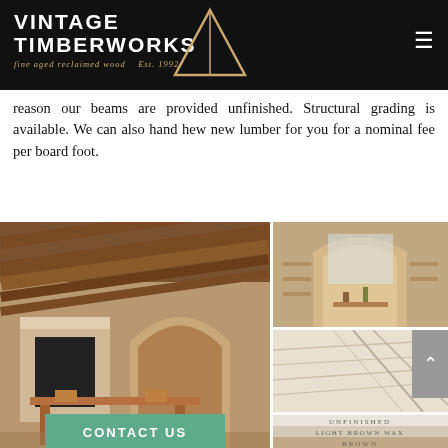VINTAGE TIMBERWORKS — fine aged reclaimed wood — Est. 1992
reason our beams are provided unfinished. Structural grading is available. We can also hand hew new lumber for you for a nominal fee per board foot.
[Figure (photo): Interior rustic room with exposed timber ceiling beams, stone fireplace and arched doorways with dining table and chairs]
[Figure (photo): Close-up of rustic stone interior with arched shelving nook]
[Figure (photo): Close-up of wood grain texture on hand-hewn lumber]
[Figure (photo): Wood stain swatches labeled Unfinished, Light Brown Wax, Brown]
CONTACT US